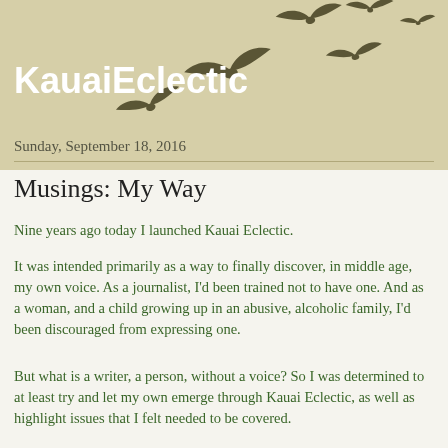[Figure (illustration): Silhouettes of birds in flight scattered across the upper right portion of the page header, on a tan/beige background]
KauaiEclectic
Sunday, September 18, 2016
Musings: My Way
Nine years ago today I launched Kauai Eclectic.
It was intended primarily as a way to finally discover, in middle age, my own voice. As a journalist, I'd been trained not to have one. And as a woman, and a child growing up in an abusive, alcoholic family, I'd been discouraged from expressing one.
But what is a writer, a person, without a voice? So I was determined to at least try and let my own emerge through Kauai Eclectic, as well as highlight issues that I felt needed to be covered.